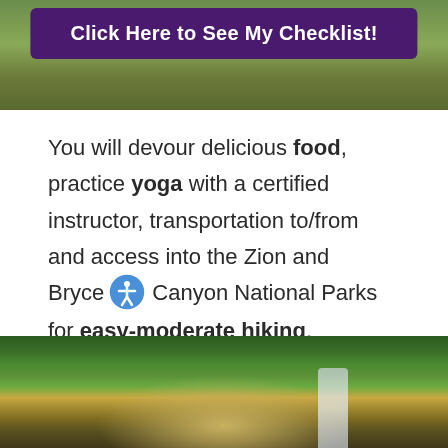[Figure (photo): Scenic landscape with green shrubs and grasses, with a dark purple button overlay reading 'Click Here to See My Checklist!']
You will devour delicious food, practice yoga with a certified instructor, transportation to/from and access into the Zion and Bryce Canyon National Parks for easy-moderate hiking, opportunity to unplug, and bask in the great outdoors.
[Figure (photo): Aerial or elevated view of dense autumn forest with green, yellow, and orange trees, with a waterfall visible in the lower right area.]